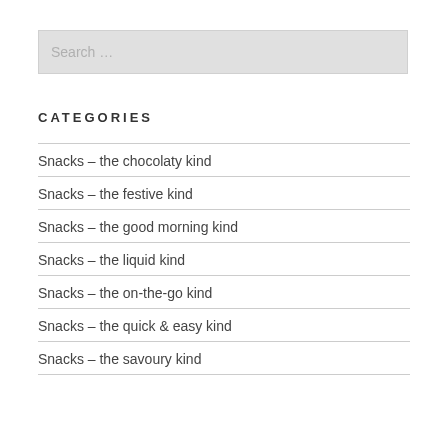Search …
CATEGORIES
Snacks – the chocolaty kind
Snacks – the festive kind
Snacks – the good morning kind
Snacks – the liquid kind
Snacks – the on-the-go kind
Snacks – the quick & easy kind
Snacks – the savoury kind